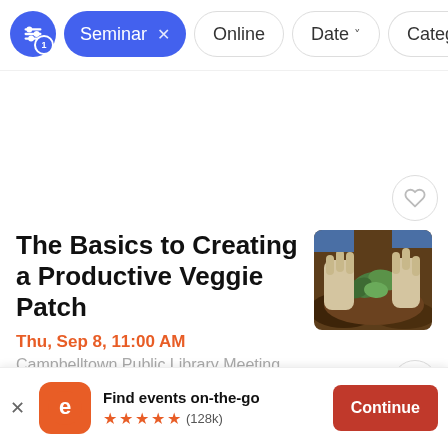[Figure (screenshot): Filter bar with blue filter icon with badge '1', blue 'Seminar x' pill, 'Online' pill, 'Date v' pill, and 'Categ' pill (partially visible)]
[Figure (photo): Person in garden gloves planting small green seedling in soil]
The Basics to Creating a Productive Veggie Patch
Thu, Sep 8, 11:00 AM
Campbelltown Public Library Meeting...
[Figure (photo): Public lecture astronomy event banner with galaxy background, QR code, text 'PUBLIC LECTURE']
A Geek's Journey into Deep Sky Astrophotography by Dr
Find events on-the-go ★★★★★ (128k)